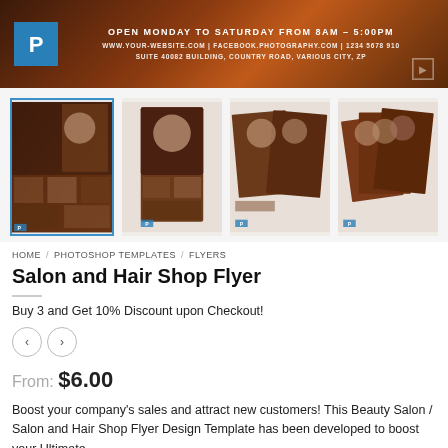[Figure (screenshot): Website banner with dark brown/orange gradient background, Photoshop P logo on left, text 'OPEN MONDAY TO SATURDAY FROM 8AM - 5:00PM' with website and address details in center]
[Figure (screenshot): Gallery row of four salon and hair shop flyer template thumbnails showing women with styled hair]
HOME / PHOTOSHOP TEMPLATES / FLYERS
Salon and Hair Shop Flyer
Buy 3 and Get 10% Discount upon Checkout!
From: $6.00
Boost your company's sales and attract new customers! This Beauty Salon / Salon and Hair Shop Flyer Design Template has been developed to boost your Ultimate